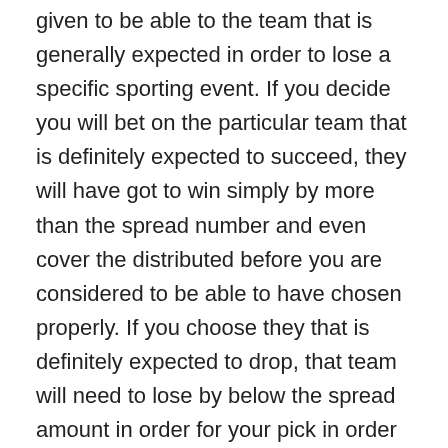given to be able to the team that is generally expected in order to lose a specific sporting event. If you decide you will bet on the particular team that is definitely expected to succeed, they will have got to win simply by more than the spread number and even cover the distributed before you are considered to be able to have chosen properly. If you choose they that is definitely expected to drop, that team will need to lose by below the spread amount in order for your pick in order to be considered correct. If by chance the team is victorious by the number regarding points that were selected as the distributed, the game is called a force.
No one which engages in sports activities